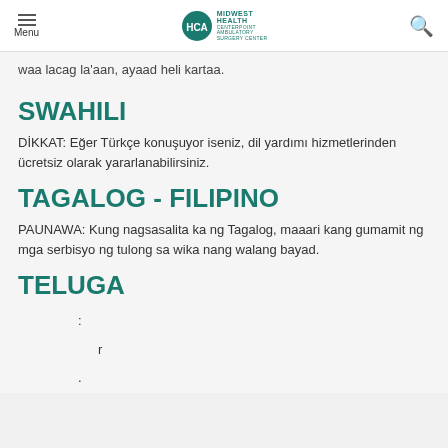Menu | HCA Midwest Health - Centerpoint Ambulatory Surgery Center
waa lacag la'aan, ayaad heli kartaa.
SWAHILI
DİKKAT: Eğer Türkçe konuşuyor iseniz, dil yardımı hizmetlerinden ücretsiz olarak yararlanabilirsiniz.
TAGALOG - FILIPINO
PAUNAWA: Kung nagsasalita ka ng Tagalog, maaari kang gumamit ng mga serbisyo ng tulong sa wika nang walang bayad.
TELUGA
:
r
.